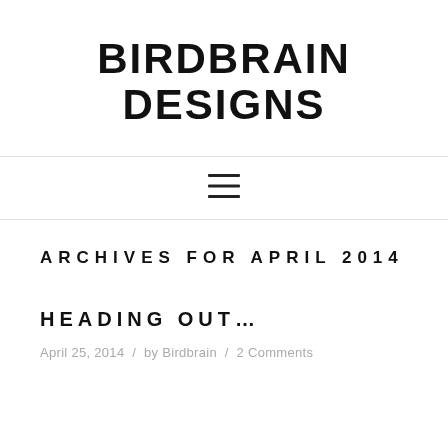BIRDBRAIN DESIGNS
[Figure (other): Hamburger menu icon — three horizontal lines]
ARCHIVES FOR APRIL 2014
HEADING OUT…
April 25, 2014  /  by Birdbrain  /  2 Comments